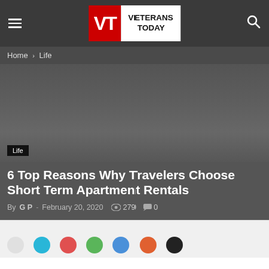Veterans Today
Home › Life
[Figure (photo): Hero image placeholder with dark gray gradient background]
6 Top Reasons Why Travelers Choose Short Term Apartment Rentals
By G P - February 20, 2020   279   0